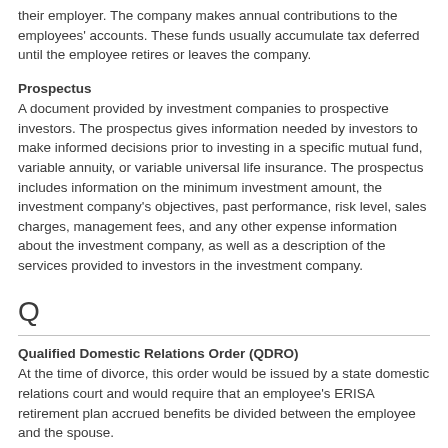their employer. The company makes annual contributions to the employees' accounts. These funds usually accumulate tax deferred until the employee retires or leaves the company.
Prospectus
A document provided by investment companies to prospective investors. The prospectus gives information needed by investors to make informed decisions prior to investing in a specific mutual fund, variable annuity, or variable universal life insurance. The prospectus includes information on the minimum investment amount, the investment company's objectives, past performance, risk level, sales charges, management fees, and any other expense information about the investment company, as well as a description of the services provided to investors in the investment company.
Q
Qualified Domestic Relations Order (QDRO)
At the time of divorce, this order would be issued by a state domestic relations court and would require that an employee's ERISA retirement plan accrued benefits be divided between the employee and the spouse.